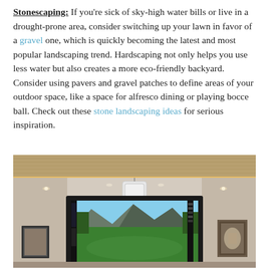Stonescaping: If you're sick of sky-high water bills or live in a drought-prone area, consider switching up your lawn in favor of a gravel one, which is quickly becoming the latest and most popular landscaping trend. Hardscaping not only helps you use less water but also creates a more eco-friendly backyard. Consider using pavers and gravel patches to define areas of your outdoor space, like a space for alfresco dining or playing bocce ball. Check out these stone landscaping ideas for serious inspiration.
[Figure (photo): Interior room showing a golf simulator setup with a large screen displaying a golf course with mountains, black framing around the screen, a device/projector hanging from the ceiling, recessed lighting in a tray ceiling with wood paneling, framed pictures on left and right walls, neutral beige/gray walls.]